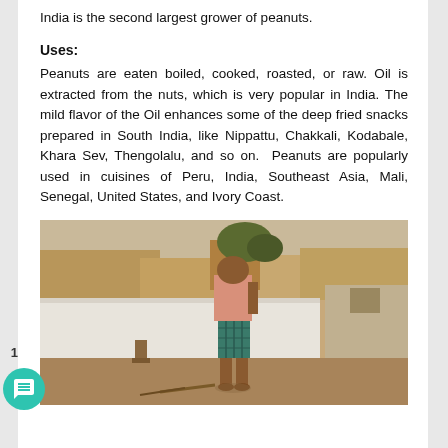India is the second largest grower of peanuts.
Uses:
Peanuts are eaten boiled, cooked, roasted, or raw. Oil is extracted from the nuts, which is very popular in India. The mild flavor of the Oil enhances some of the deep fried snacks prepared in South India, like Nippattu, Chakkali, Kodabale, Khara Sev, Thengolalu, and so on.  Peanuts are popularly used in cuisines of Peru, India, Southeast Asia, Mali, Senegal, United States, and Ivory Coast.
[Figure (photo): A person standing near a white wall in a rural setting, wearing a pink shirt and plaid green shorts, with sandy ground and buildings in the background.]